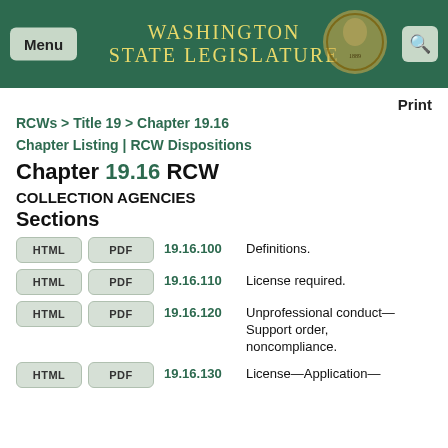Washington State Legislature
Print
RCWs > Title 19 > Chapter 19.16
Chapter Listing | RCW Dispositions
Chapter 19.16 RCW
COLLECTION AGENCIES
Sections
HTML  PDF  19.16.100  Definitions.
HTML  PDF  19.16.110  License required.
HTML  PDF  19.16.120  Unprofessional conduct—Support order, noncompliance.
HTML  PDF  19.16.130  License—Application—